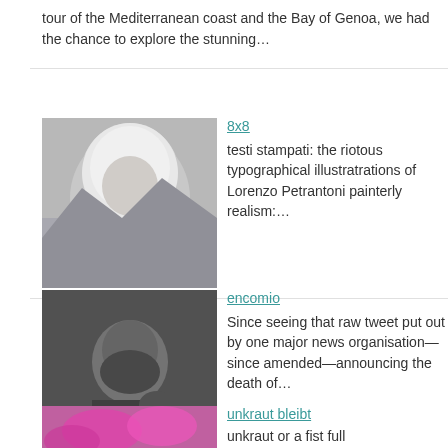tour of the Mediterranean coast and the Bay of Genoa, we had the chance to explore the stunning…
8x8
testi stampati: the riotous typographical illustratrations of Lorenzo Petrantoni  painterly realism:…
encomio
Since seeing that raw tweet put out by one major news organisation—since amended—announcing the death of…
unkraut bleibt
unkraut or a fist full
[Figure (other): Decorative polka dot pattern in light green and yellow tones on right side of page]
[Figure (photo): Black and white photo of a creature with long white shaggy hair, resembling a yeti or similar]
[Figure (photo): Black and white photo of a bearded man holding something, looking to the side]